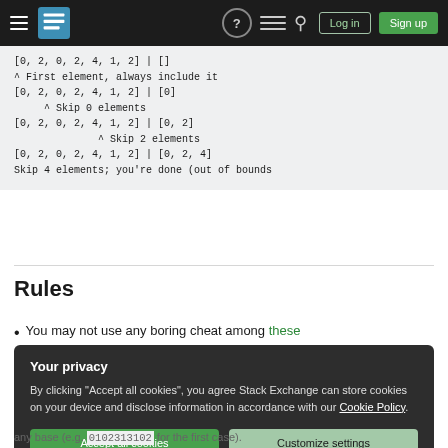Stack Exchange navigation bar with logo, icons, Log in and Sign up buttons
[0, 2, 0, 2, 4, 1, 2] | []
^ First element, always include it
[0, 2, 0, 2, 4, 1, 2] | [0]
     ^ Skip 0 elements
[0, 2, 0, 2, 4, 1, 2] | [0, 2]
              ^ Skip 2 elements
[0, 2, 0, 2, 4, 1, 2] | [0, 2, 4]
Skip 4 elements; you're done (out of bounds
Rules
You may not use any boring cheat among these
Your privacy
By clicking "Accept all cookies", you agree Stack Exchange can store cookies on your device and disclose information in accordance with our Cookie Policy.
Accept all cookies  Customize settings
any base (e.g. 0102313102 for the first case).